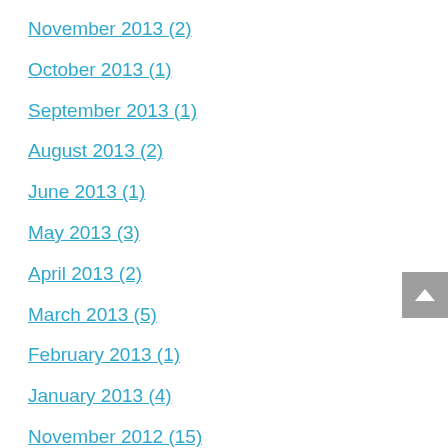November 2013 (2)
October 2013 (1)
September 2013 (1)
August 2013 (2)
June 2013 (1)
May 2013 (3)
April 2013 (2)
March 2013 (5)
February 2013 (1)
January 2013 (4)
November 2012 (15)
October 2012 (4)